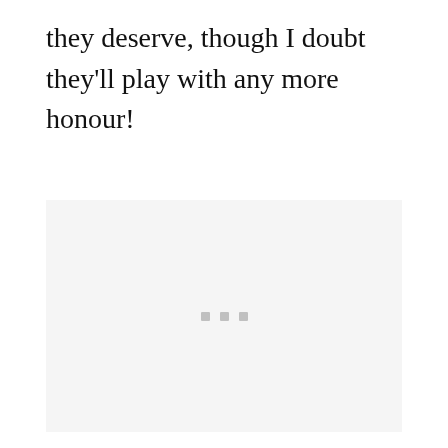they deserve, though I doubt they'll play with any more honour!
[Figure (other): Light gray placeholder box with three small gray square dots centered near the bottom third of the box]